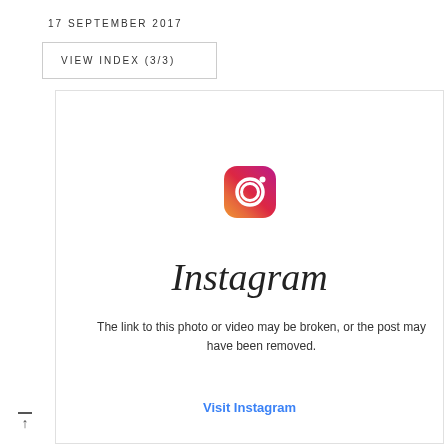17 SEPTEMBER 2017
VIEW INDEX (3/3)
[Figure (logo): Instagram camera icon logo with gradient colors (pink, orange, purple) and the Instagram wordmark in script font]
The link to this photo or video may be broken, or the post may have been removed.
Visit Instagram